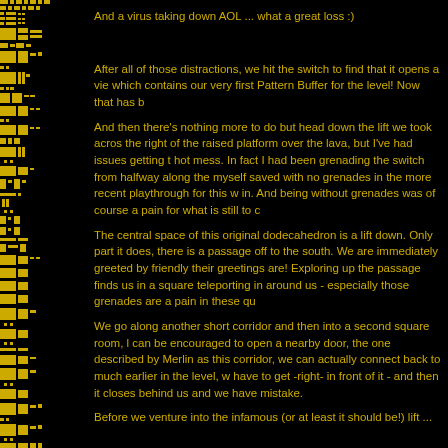[Figure (illustration): Left sidebar with pixel art / icon graphics in yellow/gold on black background, resembling a game UI or decorative border]
And a virus taking down AOL ... what a great loss :)
After all of those distractions, we hit the switch to find that it opens a vie which contains our very first Pattern Buffer for the level! Now that has b
And then there's nothing more to do but head down the lift we took acros the right of the raised platform over the lava, but I've had issues getting t hot mess. In fact I had been grenading the switch from halfway along the myself saved with no grenades in the more recent playthrough for this w in. And being without grenades was of course a pain for what is still to c
The central space of this original dodecahedron is a lift down. Only part it does, there is a passage off to the south. We are immediately greeted by friendly their greetings are! Exploring up the passage finds us in a square teleporting in around us - especially those grenades are a pain in these qu
We go along another short corridor and then into a second square room, l can be encouraged to open a nearby door, the one described by Merlin as this corridor, we can actually connect back to much earlier in the level, w have to get -right- in front of it - and then it closes behind us and we have mistake.
Before we venture into the infamous (or at least it should be!) lift...